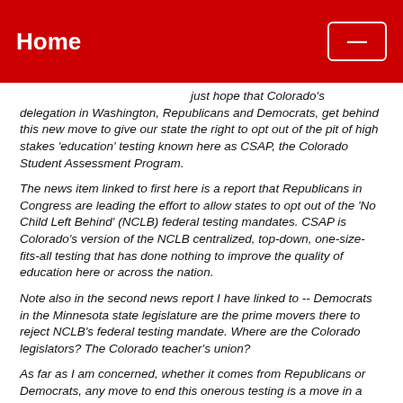Home
just hope that Colorado's delegation in Washington, Republicans and Democrats, get behind this new move to give our state the right to opt out of the pit of high stakes 'education' testing known here as CSAP, the Colorado Student Assessment Program.
The news item linked to first here is a report that Republicans in Congress are leading the effort to allow states to opt out of the 'No Child Left Behind' (NCLB) federal testing mandates. CSAP is Colorado's version of the NCLB centralized, top-down, one-size-fits-all testing that has done nothing to improve the quality of education here or across the nation.
Note also in the second news report I have linked to -- Democrats in the Minnesota state legislature are the prime movers there to reject NCLB's federal testing mandate. Where are the Colorado legislators? The Colorado teacher's union?
As far as I am concerned, whether it comes from Republicans or Democrats, any move to end this onerous testing is a move in a better direction.